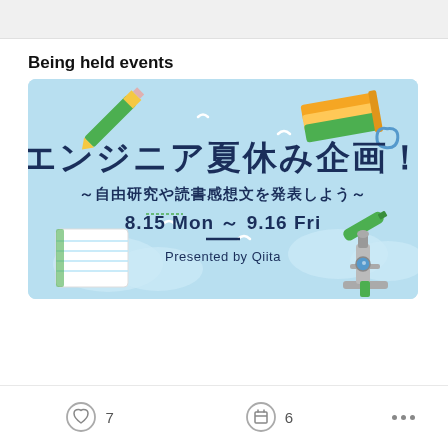Being held events
[Figure (illustration): Promotional banner for Qiita summer event (エンジニア夏休み企画！～自由研究や読書感想文を発表しよう～) with dates 8.15 Mon ~ 9.16 Fri, Presented by Qiita, light blue background with school/study themed illustrations]
♡ 7   🗂 6   ...